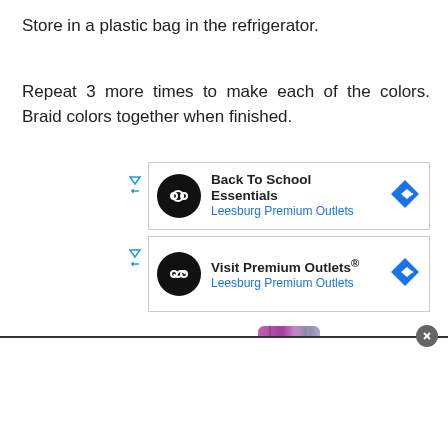Store in a plastic bag in the refrigerator.
Repeat 3 more times to make each of the colors. Braid colors together when finished.
[Figure (screenshot): Advertisement banner for Back To School Essentials at Leesburg Premium Outlets with infinity logo and blue diamond arrow icon]
[Figure (screenshot): Advertisement banner for Visit Premium Outlets at Leesburg Premium Outlets with infinity logo and blue diamond arrow icon]
[Figure (photo): Braided colorful strands in purple, pink and silver/gray colors]
[Figure (screenshot): White bottom overlay bar with close button]